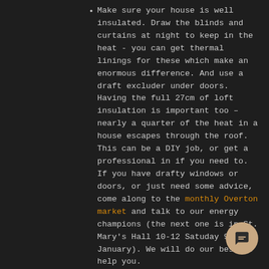Make sure your house is well insulated. Draw the blinds and curtains at night to keep in the heat - you can get thermal linings for these which make an enormous difference. And use a draft excluder under doors. Having the full 27cm of loft insulation is important too – nearly a quarter of the heat in a house escapes through the roof. This can be a DIY job, or get a professional in if you need to. If you have drafty windows or doors, or just need some advice, come along to the monthly Overton market and talk to our energy champions (the next one is in St. Mary's Hall 10-12 Satuday 9 January). We will do our best to help you.